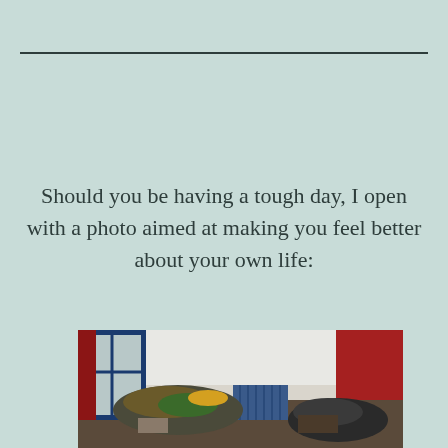Should you be having a tough day, I open with a photo aimed at making you feel better about your own life:
[Figure (photo): A very messy, cluttered room with piles of clothes and items on the floor, a blue-framed window with red curtains on the left, a radiator in the center background, and a red fabric on the right. The room is disorganized.]